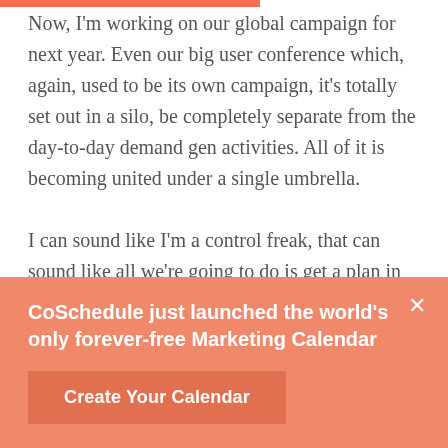Now, I'm working on our global campaign for next year. Even our big user conference which, again, used to be its own campaign, it's totally set out in a silo, be completely separate from the day-to-day demand gen activities. All of it is becoming united under a single umbrella.

I can sound like I'm a control freak, that can sound like all we're going to do is get a plan in place and never have time to execute it because it's so complex that it has to be perfect. Actually, it's simplifying
CoSchedule just launched the world's only forever-free Marketing Calendar
Create Your Calendar